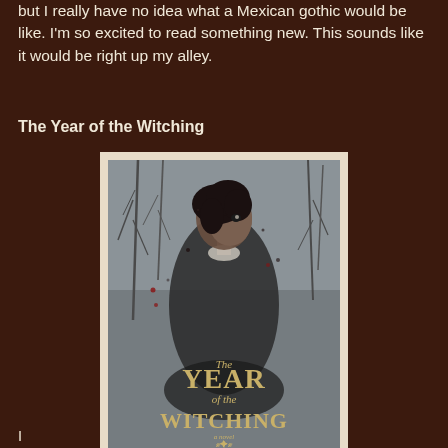but I really have no idea what a Mexican gothic would be like. I'm so excited to read something new. This sounds like it would be right up my alley.
The Year of the Witching
[Figure (photo): Book cover of 'The Year of the Witching' by Alexis Henderson, showing a Black woman in a dark dress standing in a wintry forest scene, in black and white tones. The title is displayed in gold lettering.]
partial text visible at bottom of page